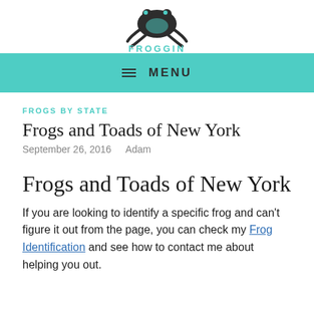[Figure (logo): Froggin logo: stylized frog illustration in black/dark teal with 'FROGGIN' text in teal below]
≡ MENU
FROGS BY STATE
Frogs and Toads of New York
September 26, 2016   Adam
Frogs and Toads of New York
If you are looking to identify a specific frog and can't figure it out from the page, you can check my Frog Identification and see how to contact me about helping you out.